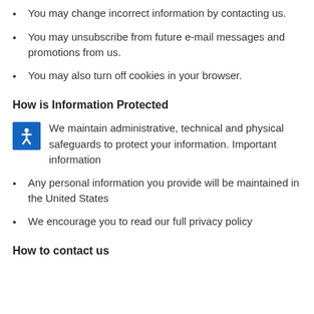You may change incorrect information by contacting us.
You may unsubscribe from future e-mail messages and promotions from us.
You may also turn off cookies in your browser.
How is Information Protected
We maintain administrative, technical and physical safeguards to protect your information. Important information
Any personal information you provide will be maintained in the United States
We encourage you to read our full privacy policy
How to contact us